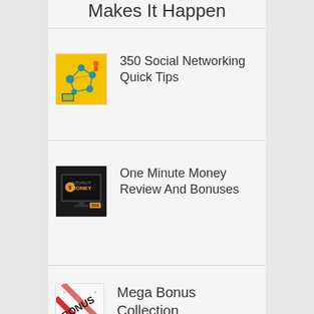Makes It Happen
350 Social Networking Quick Tips
One Minute Money Review And Bonuses
Mega Bonus Collection